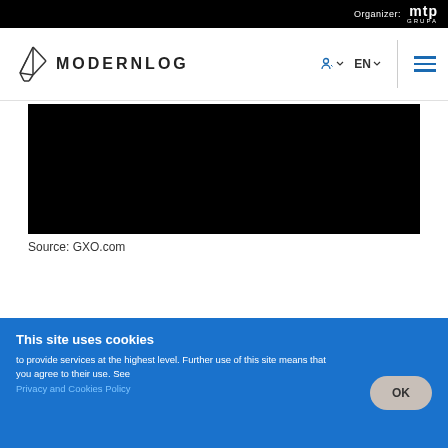Organizer: mtp GRUPA
[Figure (logo): MODERNLOG logo with stylized crane/geometry icon and text MODERNLOG]
[Figure (screenshot): Black rectangle representing a video or image placeholder from GXO.com]
Source: GXO.com
This site uses cookies
to provide services at the highest level. Further use of this site means that you agree to their use. See Privacy and Cookies Policy